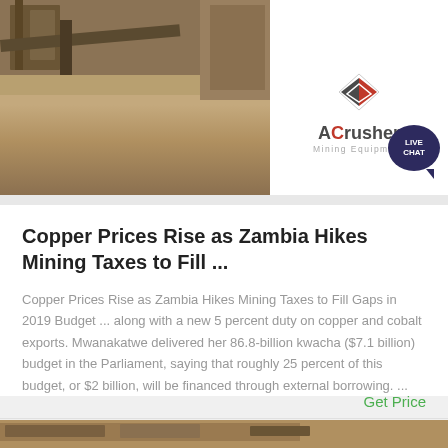[Figure (photo): Mining site photograph showing equipment, conveyor belts, and sandy terrain on the left side; ACrusher Mining Equipment logo with diamond shape on white background on the right side; blue 'LIVE CHAT' speech bubble in corner]
Copper Prices Rise as Zambia Hikes Mining Taxes to Fill ...
Copper Prices Rise as Zambia Hikes Mining Taxes to Fill Gaps in 2019 Budget ... along with a new 5 percent duty on copper and cobalt exports. Mwanakatwe delivered her 86.8-billion kwacha ($7.1 billion) budget in the Parliament, saying that roughly 25 percent of this budget, or $2 billion, will be financed through external borrowing. ...
Get Price
[Figure (photo): Partial view of a mining site photograph at the bottom of the page]